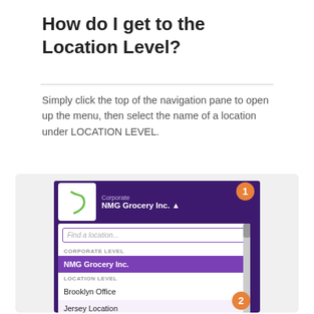How do I get to the Location Level?
Simply click the top of the navigation pane to open up the menu, then select the name of a location under LOCATION LEVEL.
[Figure (screenshot): Screenshot of a navigation panel showing a corporate menu with 'NMG Grocery Inc.' selected at Corporate level, a 'Find a location...' search box, Corporate Level section with 'NMG Grocery Inc.' highlighted in purple, and Location Level section showing 'Brooklyn Office' and 'Jersey Location'. Orange numbered badges 1 and 2 annotate the screenshot.]